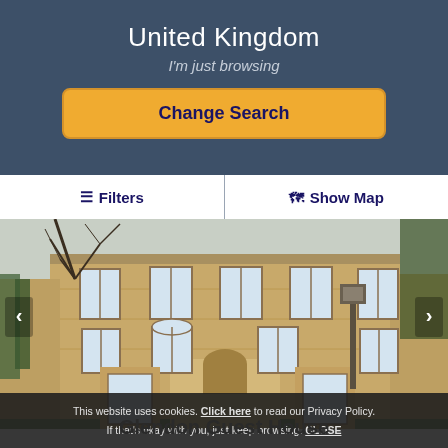United Kingdom
I'm just browsing
Change Search
☰ Filters | 🗺 Show Map
[Figure (photo): Exterior photo of a large stone guest house building with multiple windows, ivy, bare trees, and a lamppost in the foreground]
Glendon Guest House
This website uses cookies. Click here to read our Privacy Policy. If that's okay with you, just keep browsing. CLOSE